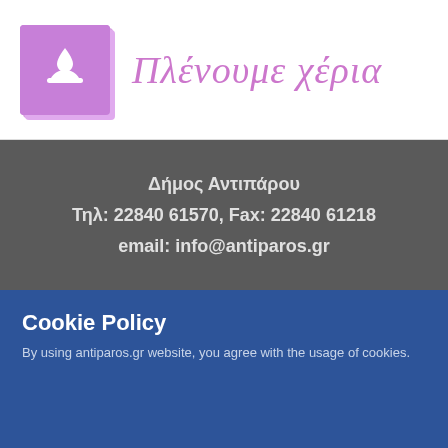[Figure (logo): Purple square logo with a hand-washing icon (hand under water drop), with a slight shadow offset square]
Πλένουμε χέρια
Δήμος Αντιπάρου
Τηλ: 22840 61570, Fax: 22840 61218
email: info@antiparos.gr
Cookie Policy
By using antiparos.gr website, you agree with the usage of cookies.
Learn more
Accept